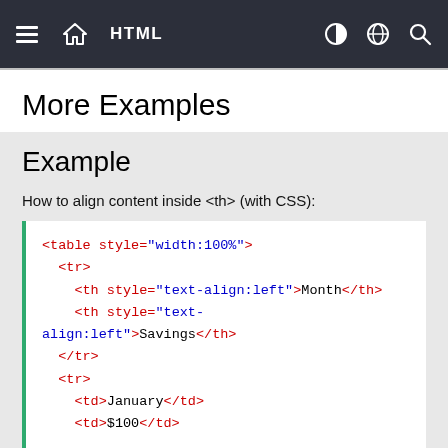HTML
More Examples
Example
How to align content inside <th> (with CSS):
<table style="width:100%">
  <tr>
    <th style="text-align:left">Month</th>
    <th style="text-align:left">Savings</th>
  </tr>
  <tr>
    <td>January</td>
    <td>$100</td>